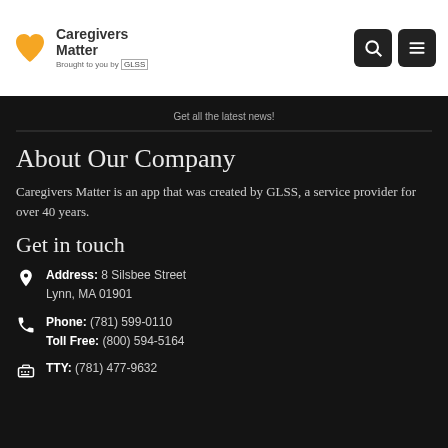Caregivers Matter — Brought to you by GLSS
Get all the latest news!
About Our Company
Caregivers Matter is an app that was created by GLSS, a service provider for over 40 years.
Get in touch
Address: 8 Silsbee Street Lynn, MA 01901
Phone: (781) 599-0110 Toll Free: (800) 594-5164
TTY: (781) 477-9632